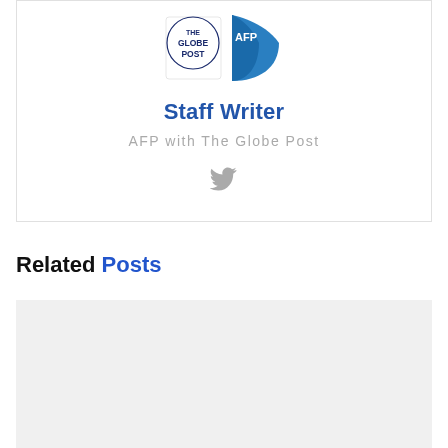[Figure (logo): The Globe Post logo combined with AFP logo marks]
Staff Writer
AFP with The Globe Post
[Figure (illustration): Twitter bird icon in gray]
Related Posts
[Figure (photo): Light gray placeholder image for related post]